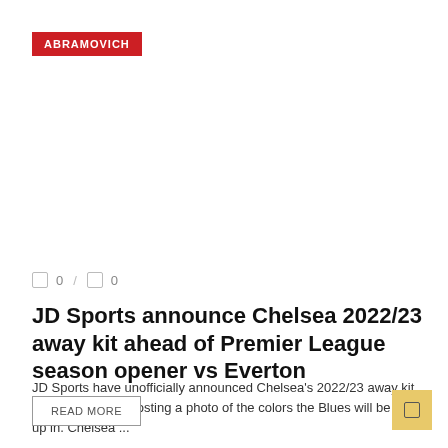ABRAMOVICH
0 / 0
JD Sports announce Chelsea 2022/23 away kit ahead of Premier League season opener vs Everton
JD Sports have unofficially announced Chelsea's 2022/23 away kit on social media, posting a photo of the colors the Blues will be lining up in. Chelsea ...
READ MORE